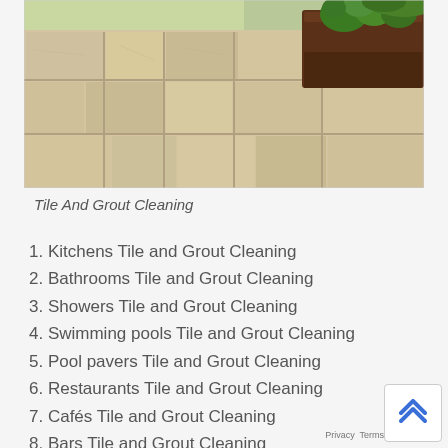[Figure (photo): Outdoor stone tile patio with square/rectangular beige/grey stone pavers in a grid pattern, with a dark wooden planter box containing green plants in the upper right corner, surrounded by greenery in the background.]
Tile And Grout Cleaning
1. Kitchens Tile and Grout Cleaning
2. Bathrooms Tile and Grout Cleaning
3. Showers Tile and Grout Cleaning
4. Swimming pools Tile and Grout Cleaning
5. Pool pavers Tile and Grout Cleaning
6. Restaurants Tile and Grout Cleaning
7. Cafés Tile and Grout Cleaning
8. Bars Tile and Grout Cleaning
9. Homes Tile and Grout Cleaning